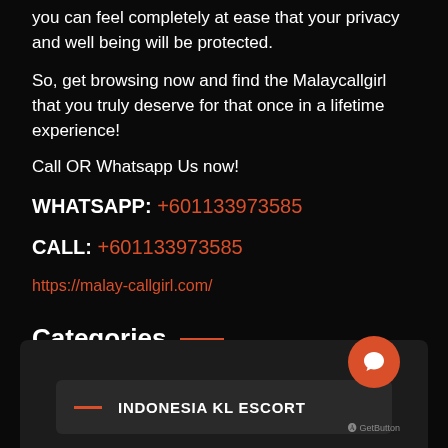you can feel completely at ease that your privacy and well being will be protected.
So, get browsing now and find the Malaycallgirl that you truly deserve for that once in a lifetime experience!
Call OR Whatsapp Us now!
WHATSAPP: +601133973585
CALL: +601133973585
https://malay-callgirl.com/
Categories
INDONESIA KL ESCORT